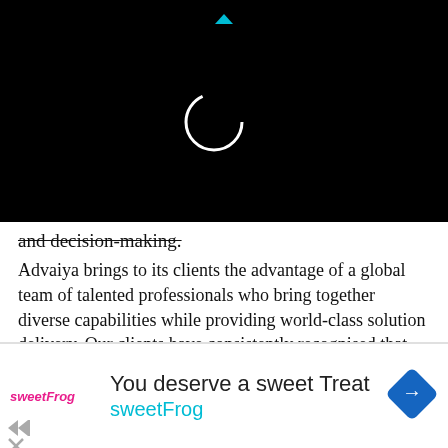[Figure (screenshot): Black screen area with a white circular spinner/loading indicator centered on the left side, and a small cyan/teal arrow icon near the top center.]
and decision-making.
Advaiya brings to its clients the advantage of a global team of talented professionals who bring together diverse capabilities while providing world-class solution delivery. Our clients have consistently recognised that we stand out for better business understanding, technical excellence, and unmatched support.
hat are your thoughts on Cloud computing, Data
[Figure (screenshot): Advertisement banner: sweetFrog logo on the left, text 'You deserve a sweet Treat' in large font, 'sweetFrog' in cyan below, and a blue diamond navigation icon on the right. Small skip/close icons bottom left.]